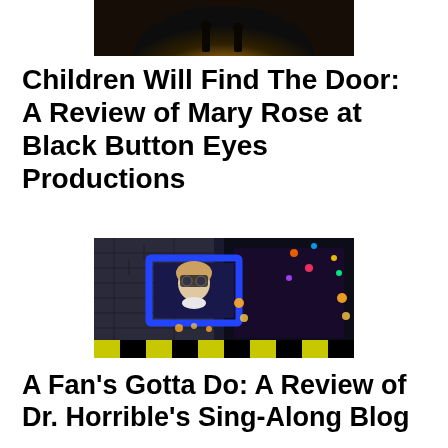[Figure (photo): Top photo showing silhouettes of figures with bright light behind them, dramatic backlit scene]
Children Will Find The Door: A Review of Mary Rose at Black Button Eyes Productions
[Figure (photo): Stage production photo showing a performer framed in a blue rectangle against a dark brick wall, with lights and colorful set pieces, yellow and black hazard stripes at bottom]
A Fan’s Gotta Do: A Review of Dr. Horrible’s Sing-Along Blog